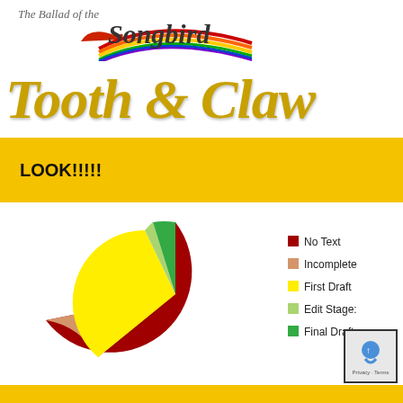The Ballad of the Songbird — Tooth & Claw
LOOK!!!!!
[Figure (pie-chart): Writing Progress]
[Figure (logo): Google/reCAPTCHA logo box with Privacy and Terms text]